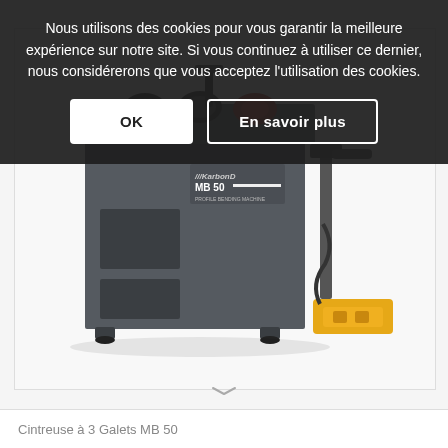Nous utilisons des cookies pour vous garantir la meilleure expérience sur notre site. Si vous continuez à utiliser ce dernier, nous considérerons que vous acceptez l'utilisation des cookies.
[Figure (photo): Cookie consent dialog with two buttons: 'OK' (white button) and 'En savoir plus' (outlined button), overlaid on a dark semi-transparent background over a product page showing a Karbend MB 50 Profile Bending Machine.]
[Figure (photo): Karbend MB 50 Profile Bending Machine - a grey industrial profile bending machine with three rollers at the top, a cabinet base with shelf openings, and a yellow foot pedal controller connected by cable.]
Cintreuse à 3 Galets MB 50